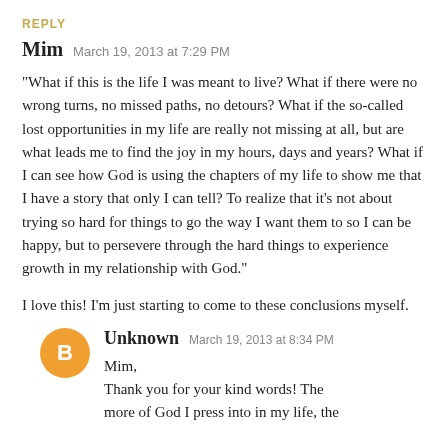REPLY
Mim  March 19, 2013 at 7:29 PM
"What if this is the life I was meant to live? What if there were no wrong turns, no missed paths, no detours? What if the so-called lost opportunities in my life are really not missing at all, but are what leads me to find the joy in my hours, days and years? What if I can see how God is using the chapters of my life to show me that I have a story that only I can tell? To realize that it's not about trying so hard for things to go the way I want them to so I can be happy, but to persevere through the hard things to experience growth in my relationship with God."
I love this! I'm just starting to come to these conclusions myself.
Unknown  March 19, 2013 at 8:34 PM
Mim,
Thank you for your kind words! The more of God I press into in my life, the